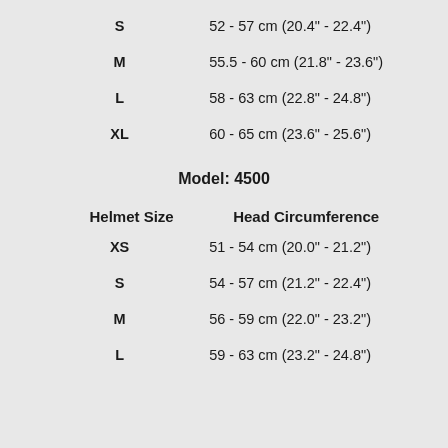| Helmet Size | Head Circumference |
| --- | --- |
| S | 52 - 57 cm (20.4" - 22.4") |
| M | 55.5 - 60 cm (21.8" - 23.6") |
| L | 58 - 63 cm (22.8" - 24.8") |
| XL | 60 - 65 cm (23.6" - 25.6") |
Model: 4500
| Helmet Size | Head Circumference |
| --- | --- |
| XS | 51 - 54 cm (20.0" - 21.2") |
| S | 54 - 57 cm (21.2" - 22.4") |
| M | 56 - 59 cm (22.0" - 23.2") |
| L | 59 - 63 cm (23.2" - 24.8") |